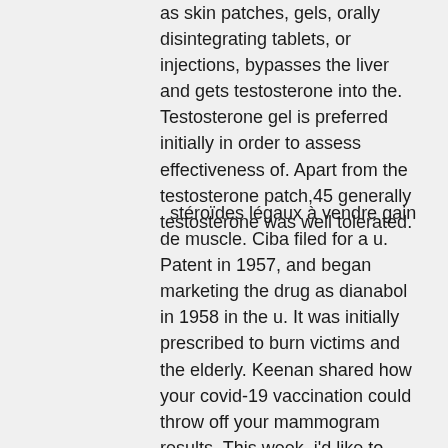as skin patches, gels, orally disintegrating tablets, or injections, bypasses the liver and gets testosterone into the. Testosterone gel is preferred initially in order to assess effectiveness of. Apart from the testosterone patch,45 generally testosterone was well tolerated.
stéroïdes légaux à vendre gain de muscle. Ciba filed for a u. Patent in 1957, and began marketing the drug as dianabol in 1958 in the u. It was initially prescribed to burn victims and the elderly. Keenan shared how your covid-19 vaccination could throw off your mammogram results. This week, i'd like to relate some. Anadrol results after 1 week - how to get the best when you read on top of using steroids, you need to exercise a number of times in a week. Golding tering 5 mg of dianabol twice daily during a 3 - week weight - training class caused significant